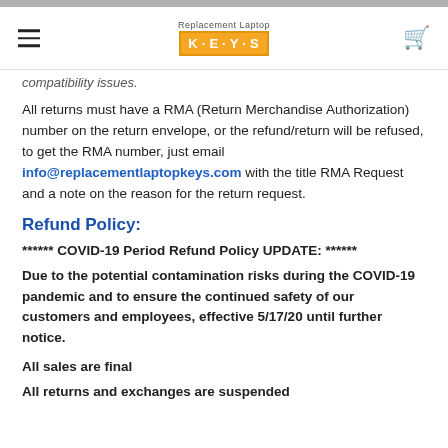Replacement Laptop KEYS
compatibility issues.
All returns must have a RMA (Return Merchandise Authorization) number on the return envelope, or the refund/return will be refused, to get the RMA number, just email info@replacementlaptopkeys.com with the title RMA Request and a note on the reason for the return request.
Refund Policy:
****** COVID-19 Period Refund Policy UPDATE:  ******
Due to the potential contamination risks during the COVID-19 pandemic and to ensure the continued safety of our customers and employees, effective 5/17/20 until further notice.
All sales are final
All returns and exchanges are suspended